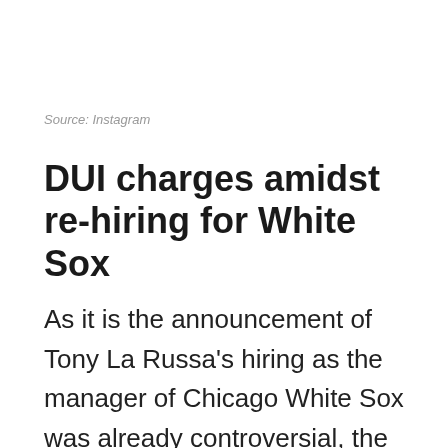Source: Instagram
DUI charges amidst re-hiring for White Sox
As it is the announcement of Tony La Russa's hiring as the manager of Chicago White Sox was already controversial, the news of the 76-year-old Hall of Famer's arrest for driving under the influence of alcohol isn't going to make things easier for